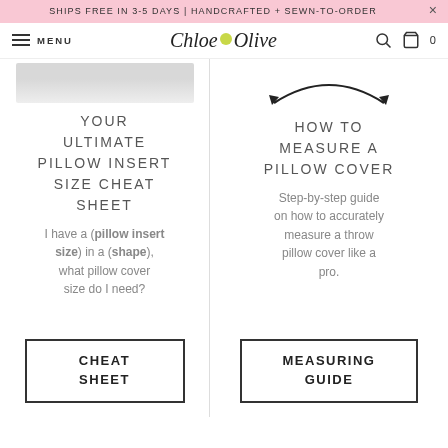SHIPS FREE IN 3-5 DAYS | HANDCRAFTED + SEWN-TO-ORDER
Chloe n Olive MENU
YOUR ULTIMATE PILLOW INSERT SIZE CHEAT SHEET
I have a (pillow insert size) in a (shape), what pillow cover size do I need?
CHEAT SHEET
HOW TO MEASURE A PILLOW COVER
Step-by-step guide on how to accurately measure a throw pillow cover like a pro.
MEASURING GUIDE